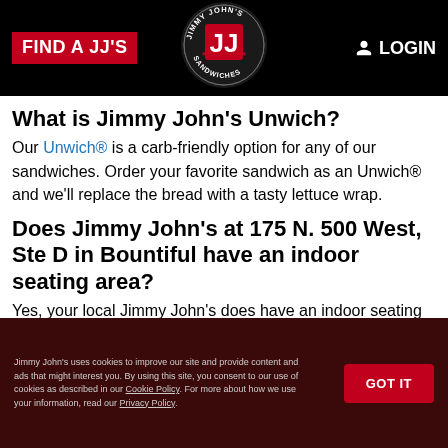FIND A JJ'S  [Jimmy John's Logo]  LOGIN
What is Jimmy John's Unwich?
Our Unwich® is a carb-friendly option for any of our sandwiches. Order your favorite sandwich as an Unwich® and we'll replace the bread with a tasty lettuce wrap.
Does Jimmy John's at 175 N. 500 West, Ste D in Bountiful have an indoor seating area?
Yes, your local Jimmy John's does have an indoor seating area.
Jimmy John's uses cookies to improve our site and provide content and ads that might interest you. By using this site, you consent to our use of cookies as described in our Cookie Policy. For more about how we use your information, read our Privacy Policy.  GOT IT